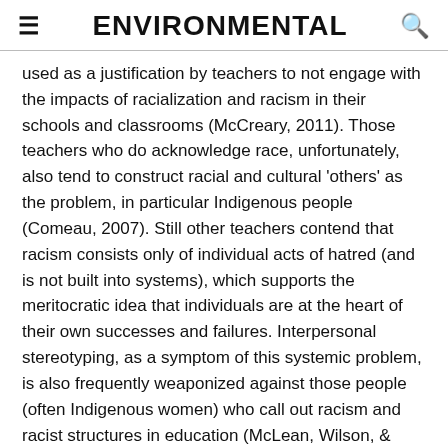ENVIRONMENTAL
used as a justification by teachers to not engage with the impacts of racialization and racism in their schools and classrooms (McCreary, 2011). Those teachers who do acknowledge race, unfortunately, also tend to construct racial and cultural 'others' as the problem, in particular Indigenous people (Comeau, 2007). Still other teachers contend that racism consists only of individual acts of hatred (and is not built into systems), which supports the meritocratic idea that individuals are at the heart of their own successes and failures. Interpersonal stereotyping, as a symptom of this systemic problem, is also frequently weaponized against those people (often Indigenous women) who call out racism and racist structures in education (McLean, Wilson, & Lee, 2017).